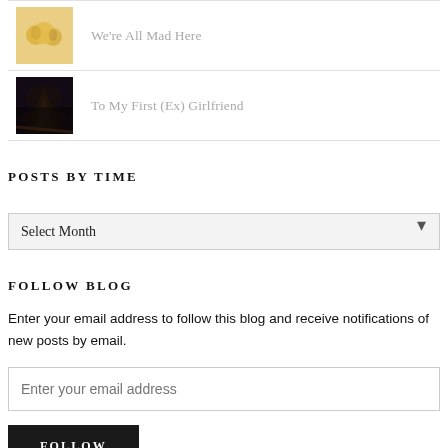We're All Mad Here
To My First (Ex) Girlfriend
POSTS BY TIME
Select Month
FOLLOW BLOG
Enter your email address to follow this blog and receive notifications of new posts by email.
Enter your email address
FOLLOW